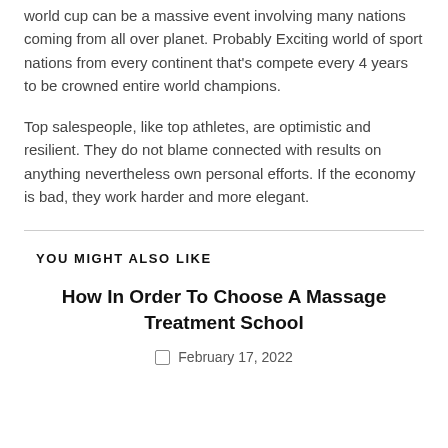world cup can be a massive event involving many nations coming from all over planet. Probably Exciting world of sport nations from every continent that's compete every 4 years to be crowned entire world champions.
Top salespeople, like top athletes, are optimistic and resilient. They do not blame connected with results on anything nevertheless own personal efforts. If the economy is bad, they work harder and more elegant.
YOU MIGHT ALSO LIKE
How In Order To Choose A Massage Treatment School
February 17, 2022